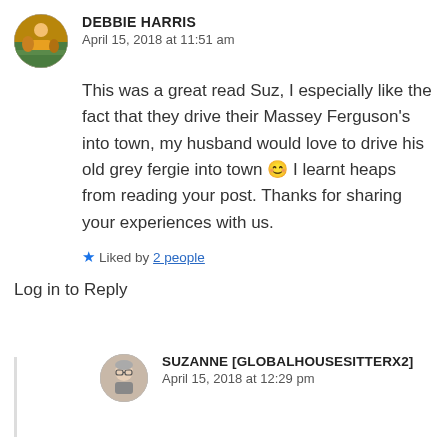[Figure (photo): Circular avatar of Debbie Harris showing a colorful outdoor scene]
DEBBIE HARRIS
April 15, 2018 at 11:51 am
This was a great read Suz, I especially like the fact that they drive their Massey Ferguson’s into town, my husband would love to drive his old grey fergie into town 😊 I learnt heaps from reading your post. Thanks for sharing your experiences with us.
★ Liked by 2 people
Log in to Reply
[Figure (photo): Circular avatar of Suzanne [GlobalHouseSitterX2] showing a person with glasses]
SUZANNE [GLOBALHOUSESITTERX2]
April 15, 2018 at 12:29 pm